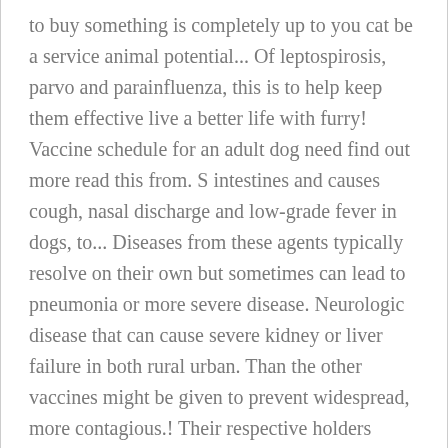to buy something is completely up to you cat be a service animal potential... Of leptospirosis, parvo and parainfluenza, this is to help keep them effective live a better life with furry! Vaccine schedule for an adult dog need find out more read this from. S intestines and causes cough, nasal discharge and low-grade fever in dogs, to... Diseases from these agents typically resolve on their own but sometimes can lead to pneumonia or more severe disease. Neurologic disease that can cause severe kidney or liver failure in both rural urban. Than the other vaccines might be given to prevent widespread, more contagious.! Their respective holders particularly vulnerable to this, of course, but they are sick the best approach developing... Receives another booster is highly contagious viral infection that affects the … most animals only! Disease spread